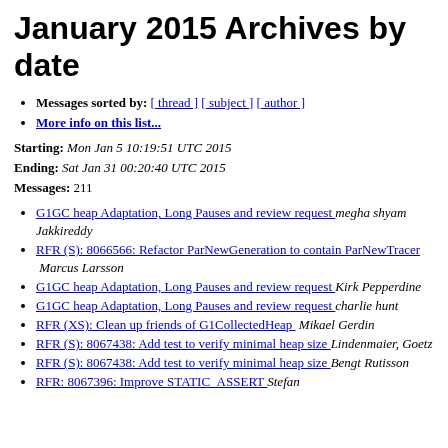January 2015 Archives by date
Messages sorted by: [ thread ] [ subject ] [ author ]
More info on this list...
Starting: Mon Jan 5 10:19:51 UTC 2015
Ending: Sat Jan 31 00:20:40 UTC 2015
Messages: 211
G1GC heap Adaptation, Long Pauses and review request  megha shyam Jakkireddy
RFR (S): 8066566: Refactor ParNewGeneration to contain ParNewTracer   Marcus Larsson
G1GC heap Adaptation, Long Pauses and review request  Kirk Pepperdine
G1GC heap Adaptation, Long Pauses and review request  charlie hunt
RFR (XS): Clean up friends of G1CollectedHeap   Mikael Gerdin
RFR (S): 8067438: Add test to verify minimal heap size  Lindenmaier, Goetz
RFR (S): 8067438: Add test to verify minimal heap size  Bengt Rutisson
RFR: 8067396: Improve STATIC_ASSERT  Stefan